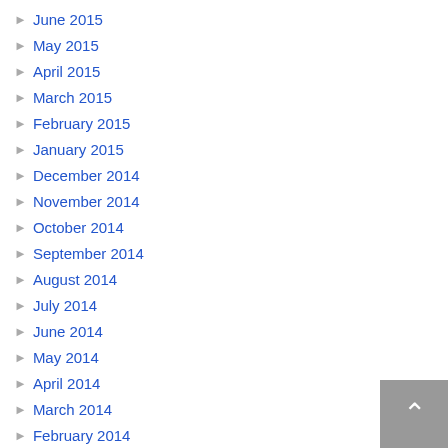June 2015
May 2015
April 2015
March 2015
February 2015
January 2015
December 2014
November 2014
October 2014
September 2014
August 2014
July 2014
June 2014
May 2014
April 2014
March 2014
February 2014